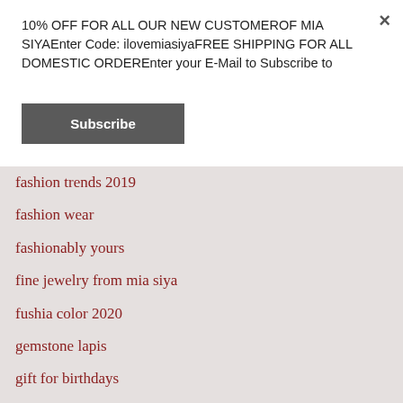10% OFF FOR ALL OUR NEW CUSTOMEROF MIA SIYAEnter Code: ilovemiasiyaFREE SHIPPING FOR ALL DOMESTIC ORDEREnter your E-Mail to Subscribe to
Subscribe
fashion trends 2019
fashion wear
fashionably yours
fine jewelry from mia siya
fushia color 2020
gemstone lapis
gift for birthdays
gift for teenager 2020